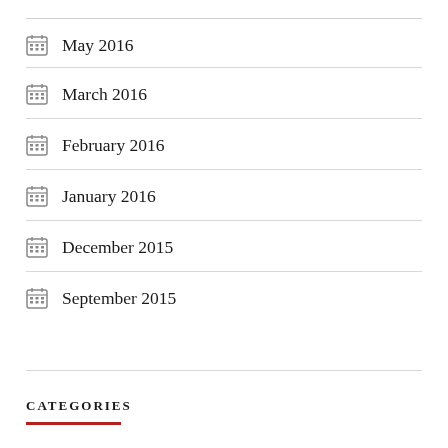May 2016
March 2016
February 2016
January 2016
December 2015
September 2015
CATEGORIES